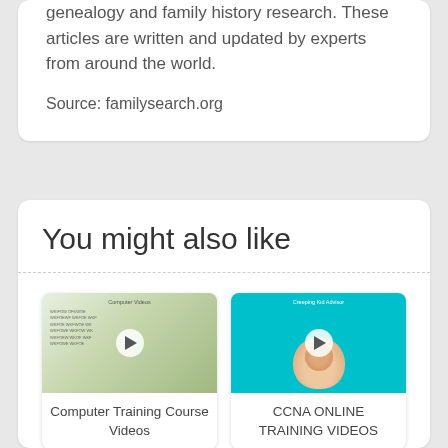genealogy and family history research. These articles are written and updated by experts from around the world.
Source: familysearch.org
You might also like
[Figure (screenshot): Thumbnail image for Computer Training Course Videos showing a document with play button]
Computer Training Course Videos
[Figure (screenshot): Thumbnail image for CCNA ONLINE TRAINING VIDEOS showing an ear/baby image on teal background with play button]
CCNA ONLINE TRAINING VIDEOS